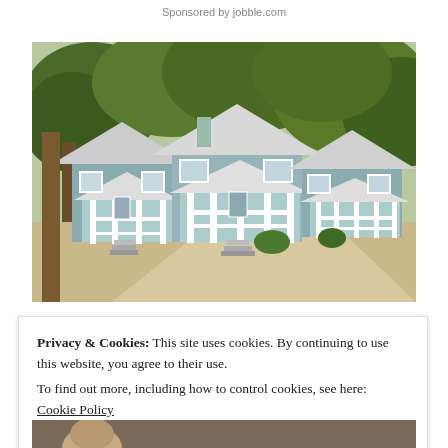Sponsored by jobble.com
[Figure (photo): Exterior photo of light blue/gray craftsman-style cottage homes with white trim, front porches with white railings and columns, steps, driveway, surrounded by large green trees on a sunny day.]
Privacy & Cookies: This site uses cookies. By continuing to use this website, you agree to their use.
To find out more, including how to control cookies, see here: Cookie Policy
[Figure (photo): Partial photo at bottom of page, appears to show a person (top of head visible).]